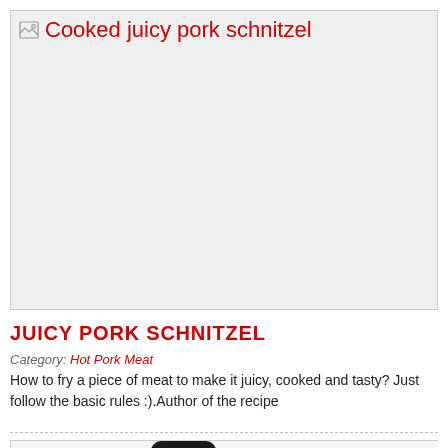[Figure (photo): Placeholder image box with alt text 'Cooked juicy pork schnitzel' shown as broken image icon with red text label]
JUICY PORK SCHNITZEL
Category: Hot Pork Meat
How to fry a piece of meat to make it juicy, cooked and tasty? Just follow the basic rules :).Author of the recipe
[Figure (photo): Partial photo showing a dark sauce bottle with red label text 'SAVIER' and green herbs/leaves on a white background]